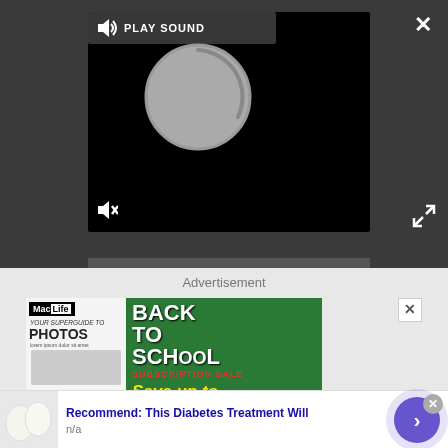[Figure (screenshot): Video player with dark background, play sound button, loading spinner, mute icon and progress bar]
Advertisement
[Figure (screenshot): Mac Life Back to School Subscription Sale advertisement - Save up to 85%]
[Figure (screenshot): Bottom ad: Recommend: This Diabetes Treatment Will - n/a, with arrow button]